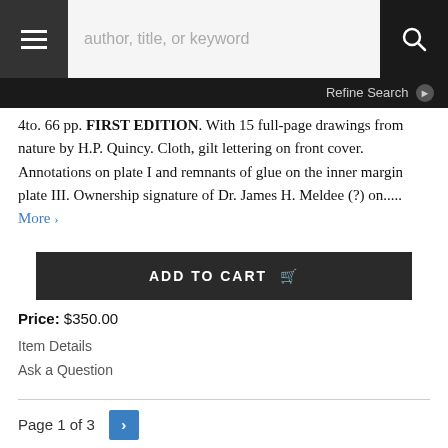author, title, or keyword [search bar] | Refine Search
4to. 66 pp. FIRST EDITION. With 15 full-page drawings from nature by H.P. Quincy. Cloth, gilt lettering on front cover. Annotations on plate I and remnants of glue on the inner margin plate III. Ownership signature of Dr. James H. Meldee (?) on..... More
ADD TO CART
Price: $350.00
Item Details
Ask a Question
Page 1 of 3